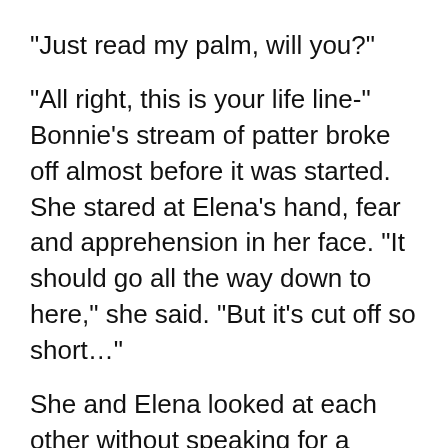"Just read my palm, will you?"
"All right, this is your life line-" Bonnie's stream of patter broke off almost before it was started. She stared at Elena's hand, fear and apprehension in her face. "It should go all the way down to here," she said. "But it's cut off so short…"
She and Elena looked at each other without speaking for a moment, while Elena felt that same apprehension solidify inside herself. Then Meredith broke in.
"Well, naturally it's short," she said. "It just